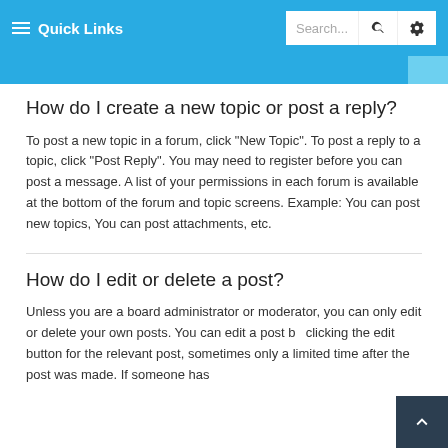Quick Links | Search...
How do I create a new topic or post a reply?
To post a new topic in a forum, click "New Topic". To post a reply to a topic, click "Post Reply". You may need to register before you can post a message. A list of your permissions in each forum is available at the bottom of the forum and topic screens. Example: You can post new topics, You can post attachments, etc.
How do I edit or delete a post?
Unless you are a board administrator or moderator, you can only edit or delete your own posts. You can edit a post by clicking the edit button for the relevant post, sometimes only a limited time after the post was made. If someone has already replied, you may see a notification if they found only a limited time after the post was made. If someone has